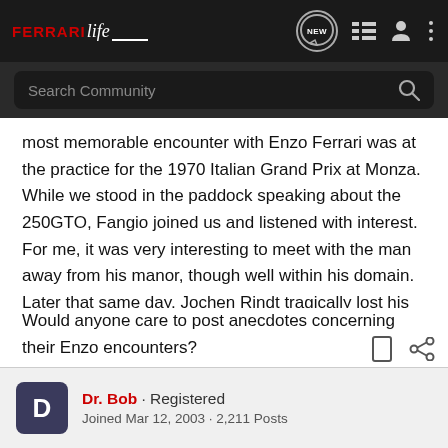FerrariLife [navigation bar with search]
most memorable encounter with Enzo Ferrari was at the practice for the 1970 Italian Grand Prix at Monza. While we stood in the paddock speaking about the 250GTO, Fangio joined us and listened with interest. For me, it was very interesting to meet with the man away from his manor, though well within his domain. Later that same day, Jochen Rindt tragically lost his life. Clay Regazzoni won the event that year.
Would anyone care to post anecdotes concerning their Enzo encounters?
Dr. Bob · Registered
Joined Mar 12, 2003 · 2,211 Posts